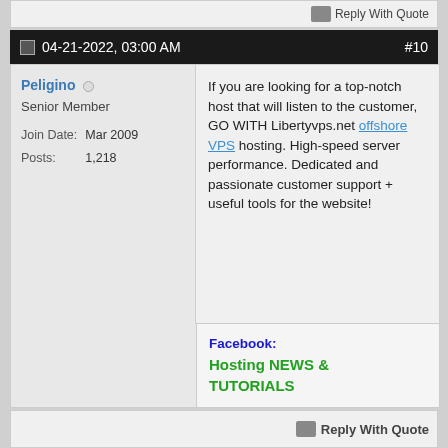Reply With Quote
04-21-2022, 03:00 AM  #10
Peligino
Senior Member
Join Date: Mar 2009
Posts: 1,218
If you are looking for a top-notch host that will listen to the customer, GO WITH Libertyvps.net offshore VPS hosting. High-speed server performance. Dedicated and passionate customer support + useful tools for the website!
Facebook: Hosting NEWS & TUTORIALS
Reply With Quote